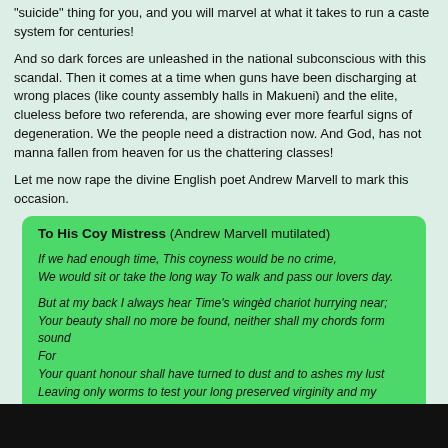"suicide" thing for you, and you will marvel at what it takes to run a caste system for centuries!
And so dark forces are unleashed in the national subconscious with this scandal. Then it comes at a time when guns have been discharging at wrong places (like county assembly halls in Makueni) and the elite, clueless before two referenda, are showing ever more fearful signs of degeneration. We the people need a distraction now. And God, has not manna fallen from heaven for us the chattering classes!
Let me now rape the divine English poet Andrew Marvell to mark this occasion.
To His Coy Mistress (Andrew Marvell mutilated)

If we had enough time, This coyness would be no crime,
We would sit or take the long way To walk and pass our lovers day.

But at my back I always hear Time’s wingèd chariot hurrying near;
Your beauty shall no more be found, neither shall my chords form sound
For
Your quant honour shall have turned to dust and to ashes my lust
Leaving only worms to test your long preserved virginity and my dwindled virility
The grave’s a fine and private place, But none, I think, do there embrace!